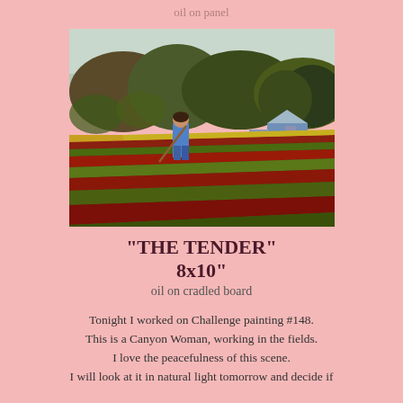oil on panel
[Figure (illustration): Oil painting of a woman working in a colorful garden/flower field with trees and farm buildings in the background. Rows of red and green plants fill the foreground. The figure wears a blue shirt and is hoeing the field.]
"THE TENDER"
8x10"
oil on cradled board
Tonight I worked on Challenge painting #148. This is a Canyon Woman, working in the fields. I love the peacefulness of this scene. I will look at it in natural light tomorrow and decide if